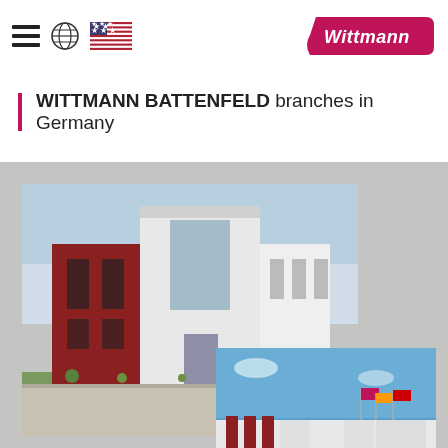Navigation header with hamburger menu, globe icon, US flag, and Wittmann logo
WITTMANN BATTENFELD branches in Germany
[Figure (photo): Composite of two photographs of WITTMANN BATTENFELD branch buildings in Germany. The main photo shows a modern commercial building with red and white facades. The overlapping second photo shows another branch building with red accent columns under a blue sky.]